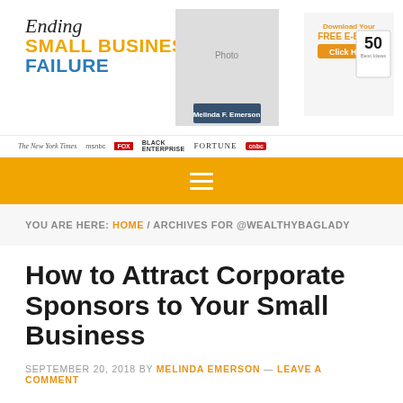Ending Small Business Failure
[Figure (logo): Website header with photo of Melinda F. Emerson (SmallBizLady) and a Free E-Book advertisement for Top 50 Best Ideas]
The New York Times | msnbc | FOX | Melinda F. Emerson SmallBizLady | BLACK ENTERPRISE | FORTUNE | cnbc
≡ (navigation menu icon)
YOU ARE HERE: HOME / ARCHIVES FOR @WEALTHYBAGLADY
How to Attract Corporate Sponsors to Your Small Business
SEPTEMBER 20, 2018 BY MELINDA EMERSON — LEAVE A COMMENT